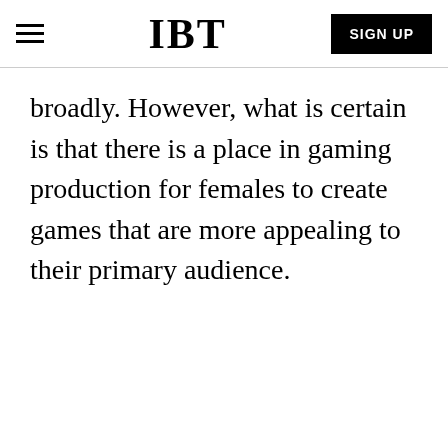IBT | SIGN UP
broadly. However, what is certain is that there is a place in gaming production for females to create games that are more appealing to their primary audience.